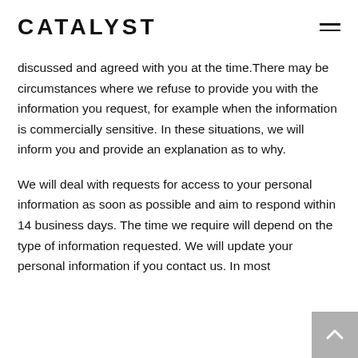CATALYST
discussed and agreed with you at the time.There may be circumstances where we refuse to provide you with the information you request, for example when the information is commercially sensitive. In these situations, we will inform you and provide an explanation as to why.
We will deal with requests for access to your personal information as soon as possible and aim to respond within 14 business days. The time we require will depend on the type of information requested. We will update your personal information if you contact us. In most